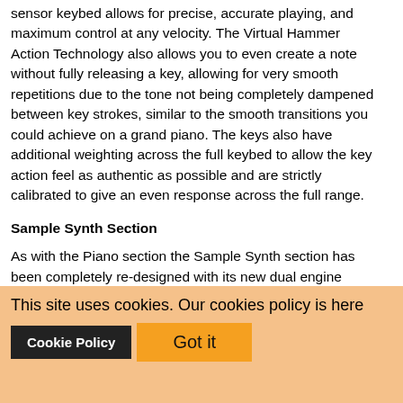sensor keybed allows for precise, accurate playing, and maximum control at any velocity. The Virtual Hammer Action Technology also allows you to even create a note without fully releasing a key, allowing for very smooth repetitions due to the tone not being completely dampened between key strokes, similar to the smooth transitions you could achieve on a grand piano. The keys also have additional weighting across the full keybed to allow the key action feel as authentic as possible and are strictly calibrated to give an even response across the full range.
Sample Synth Section
As with the Piano section the Sample Synth section has been completely re-designed with its new dual engine technology. The Piano 5 has a host of brand new samples such as solo wind, solo brass, solo strings, basses, guitars plus a vast collection of classic analog leads and basses. Included is also a selection of samples from the "Symphobia and Swing!" libraries by ProjectSAM. All the samples can
attack, decay/release and dynamic velocity response. The new Soft and Bright Timbre settings provide a quick way of shaping the tone of the sound.
This site uses cookies. Our cookies policy is here
Cookie Policy | Got it